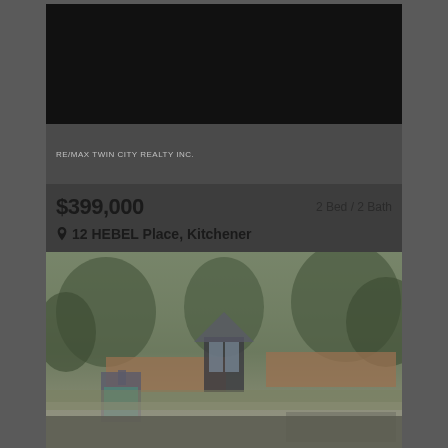[Figure (photo): Dark/black photo at top of listing card]
RE/MAX TWIN CITY REALTY INC.
$399,000
2 Bed / 2 Bath
12 HEBEL Place, Kitchener
[Figure (photo): Exterior photo of residential property at 12 HEBEL Place, Kitchener — shows driveway, wooden fence, garage, and mature trees]